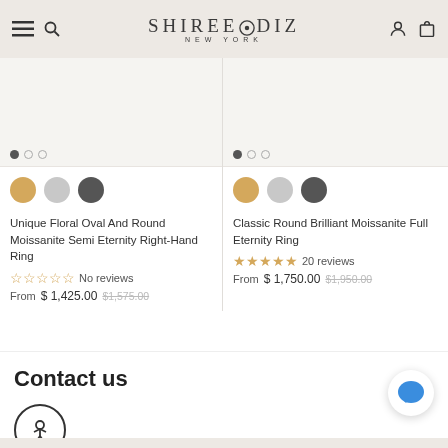SHIREE ODIZ NEW YORK
[Figure (screenshot): Product image card top portion for Unique Floral Oval And Round Moissanite Semi Eternity Right-Hand Ring with dot indicators]
[Figure (screenshot): Product image card top portion for Classic Round Brilliant Moissanite Full Eternity Ring with dot indicators]
Unique Floral Oval And Round Moissanite Semi Eternity Right-Hand Ring
No reviews From $ 1,425.00 $1,575.00
Classic Round Brilliant Moissanite Full Eternity Ring
20 reviews From $ 1,750.00 $1,950.00
Contact us